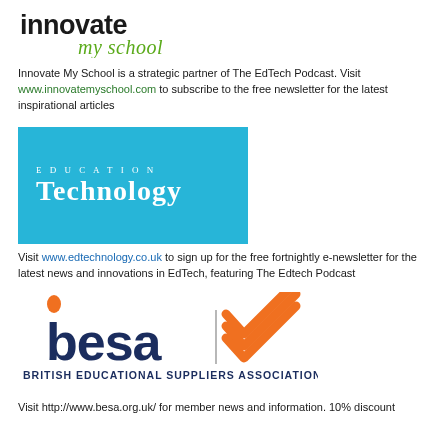[Figure (logo): Innovate My School logo — bold 'innovate' text above cursive 'my school' in green]
Innovate My School is a strategic partner of The EdTech Podcast. Visit www.innovatemyschool.com to subscribe to the free newsletter for the latest inspirational articles
[Figure (logo): Education Technology logo — white serif text on cyan/blue background reading 'EDUCATION TECHNOLOGY']
Visit www.edtechnology.co.uk to sign up for the free fortnightly e-newsletter for the latest news and innovations in EdTech, featuring The Edtech Podcast
[Figure (logo): BESA — British Educational Suppliers Association logo with dark navy 'besa' text, orange dot on b, orange checkmark, vertical divider, and text 'BRITISH EDUCATIONAL SUPPLIERS ASSOCIATION']
Visit http://www.besa.org.uk/ for member news and information. 10% discount